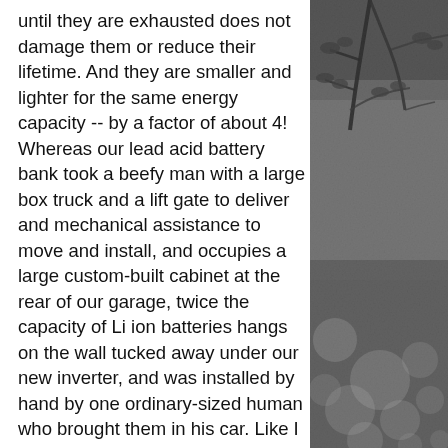until they are exhausted does not damage them or reduce their lifetime. And they are smaller and lighter for the same energy capacity -- by a factor of about 4! Whereas our lead acid battery bank took a beefy man with a large box truck and a lift gate to deliver and mechanical assistance to move and install, and occupies a large custom-built cabinet at the rear of our garage, twice the capacity of Li ion batteries hangs on the wall tucked away under our new inverter, and was installed by hand by one ordinary-sized human who brought them in his car. Like I said, total game changer!
With our new Li ion batteries on the job, we found that even though we had the
[Figure (photo): A black and white photograph showing tree branches with leaves and bokeh light effects, taken outdoors.]